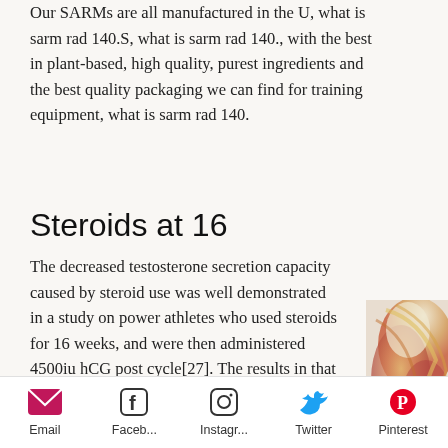Our SARMs are all manufactured in the U, what is sarm rad 140.S, what is sarm rad 140., with the best in plant-based, high quality, purest ingredients and the best quality packaging we can find for training equipment, what is sarm rad 140.
Steroids at 16
The decreased testosterone secretion capacity caused by steroid use was well demonstrated in a study on power athletes who used steroids for 16 weeks, and were then administered 4500iu hCG post cycle[27]. The results in that study were similar to our results (Fig. ), suggesting that there are different hormonal and physiological responses to the same doses of testosterone, with lower levels being required for greater testosterone suppression in a power-based sport
[Figure (illustration): Colorful watercolor-style illustration of a figure, partially visible on the right side of the page]
Email   Faceb...   Instagr...   Twitter   Pinterest